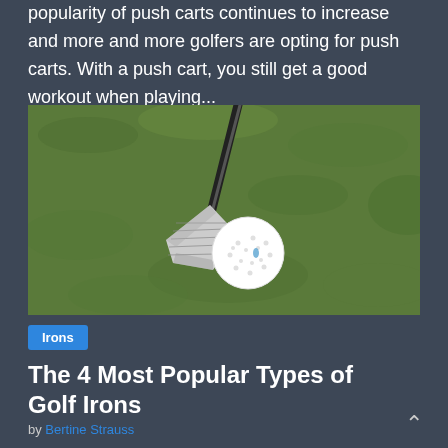popularity of push carts continues to increase and more and more golfers are opting for push carts. With a push cart, you still get a good workout when playing...
[Figure (photo): Close-up photo of a silver golf iron club head next to a white golf ball on a grass fairway]
Irons
The 4 Most Popular Types of Golf Irons
by Bertine Strauss